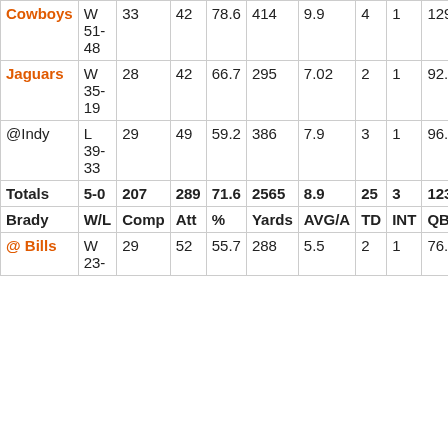| Brady | W/L | Comp | Att | % | Yards | AVG/A | TD | INT | QBR |
| --- | --- | --- | --- | --- | --- | --- | --- | --- | --- |
| Cowboys | W 51-48 | 33 | 42 | 78.6 | 414 | 9.9 | 4 | 1 | 129.6 |
| Jaguars | W 35-19 | 28 | 42 | 66.7 | 295 | 7.02 | 2 | 1 | 92.9 |
| @Indy | L 39-33 | 29 | 49 | 59.2 | 386 | 7.9 | 3 | 1 | 96.1 |
| Totals | 5-0 | 207 | 289 | 71.6 | 2565 | 8.9 | 25 | 3 | 123.3 |
| Brady | W/L | Comp | Att | % | Yards | AVG/A | TD | INT | QBR |
| @ Bills | W 23-... | 29 | 52 | 55.7 | 288 | 5.5 | 2 | 1 | 76.4 |